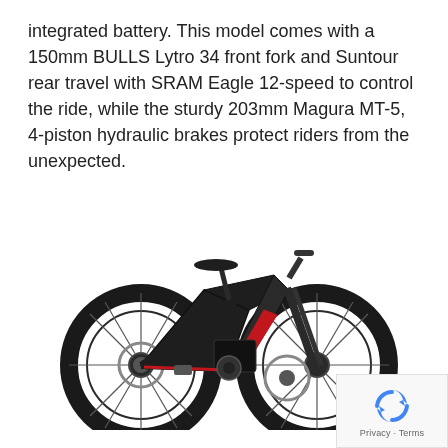integrated battery. This model comes with a 150mm BULLS Lytro 34 front fork and Suntour rear travel with SRAM Eagle 12-speed to control the ride, while the sturdy 203mm Magura MT-5, 4-piston hydraulic brakes protect riders from the unexpected.
[Figure (photo): A black and red full-suspension electric mountain bike (e-MTB) shown in profile view against a white background. The bike features large knobby tires, a front fork, rear suspension, disc brakes, and a mid-drive motor with integrated battery in the frame.]
[Figure (logo): Google reCAPTCHA badge showing the reCAPTCHA logo (circular arrows icon in blue) with Privacy and Terms links below.]